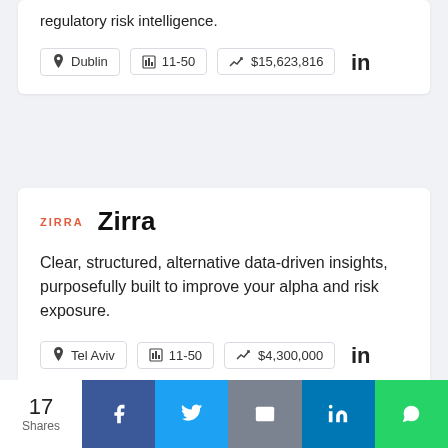regulatory risk intelligence.
Dublin  11-50  $15,623,816
Zirra
Clear, structured, alternative data-driven insights, purposefully built to improve your alpha and risk exposure.
Tel Aviv  11-50  $4,300,000
17 Shares  Facebook  Twitter  Email  LinkedIn  WhatsApp